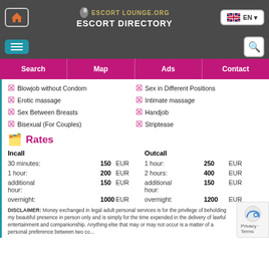ESCORT LOUNGE.ORG ESCORT DIRECTORY | EN
Blowjob without Condom
Sex in Different Positions
Erotic massage
Intimate massage
Sex Between Breasts
Handjob
Bisexual (For Couples)
Striptease
Rates
| Incall |  |  |  | Outcall |  |  |
| --- | --- | --- | --- | --- | --- | --- |
| 30 minutes: | 150 | EUR |  | 1 hour: | 250 | EUR |
| 1 hour: | 200 | EUR |  | 2 hours: | 400 | EUR |
| additional hour: | 150 | EUR |  | additional hour: | 150 | EUR |
| overnight: | 1000 | EUR |  | overnight: | 1200 | EUR |
DISCLAIMER: Money exchanged in legal adult personal services is for the privilege of beholding my beautiful presence in person only and is simply for the time expended in the delivery of lawful entertainment and companionship. Anything else that may or may not occur is a matter of a personal preference between two co...